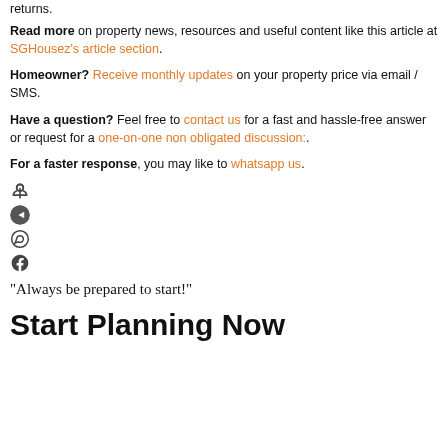returns.
Read more on property news, resources and useful content like this article at SGHousez's article section.
Homeowner? Receive monthly updates on your property price via email / SMS.
Have a question? Feel free to contact us for a fast and hassle-free answer or request for a one-on-one non obligated discussion:.
For a faster response, you may like to whatsapp us.
[Figure (other): Social media share icons: Pinterest, Telegram, WhatsApp, Facebook]
“Always be prepared to start!”
Start Planning Now